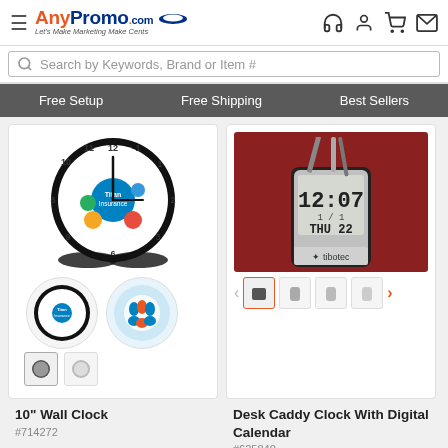AnyPromo.com – Let's Make Marketing Make Cents
Search by Keywords, Brand or Item #
Free Setup   Free Shipping   Best Sellers
[Figure (photo): 10 inch wall clock with Titan Insurance branding and colorful icons, shown with thumbnail images below]
10" Wall Clock
#714272
[Figure (photo): Desk caddy clock with digital calendar display showing 12:07, THU 22, with pen holders and tibotec branding. Multiple thumbnail images shown.]
Desk Caddy Clock With Digital Calendar
#625840